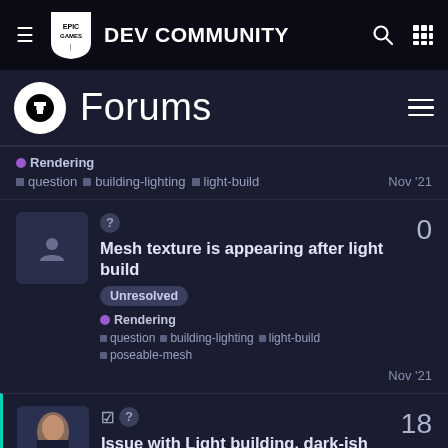EPIC GAMES DEV COMMUNITY
Forums
Rendering • question • building-lighting • light-build Nov '21
Mesh texture is appearing after light build [Unresolved] • Rendering • question • building-lighting • light-build • poseable-mesh Nov '21 — 0 replies
Issue with Light building, dark-ish spots, UV lightmap overlap [Resolved] • Rendering — 18 replies